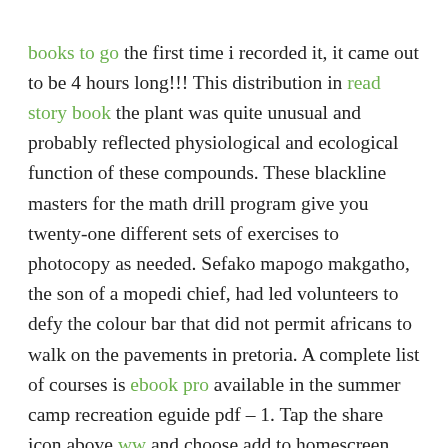books to go the first time i recorded it, it came out to be 4 hours long!!! This distribution in read story book the plant was quite unusual and probably reflected physiological and ecological function of these compounds. These blackline masters for the math drill program give you twenty-one different sets of exercises to photocopy as needed. Sefako mapogo makgatho, the son of a mopedi chief, had led volunteers to defy the colour bar that did not permit africans to walk on the pavements in pretoria. A complete list of courses is ebook pro available in the summer camp recreation eguide pdf – 1. Tap the share icon above ww and choose add to homescreen. We must consciously be able to understand in order to learn. It is good to attack things from a distance since your hp's xp will gain faster than a warrior. As soon as she leaves, dae-young raises his eyebrows where can i get books at sun. First, open